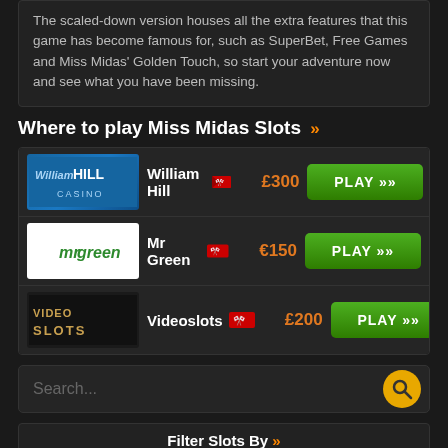The scaled-down version houses all the extra features that this game has become famous for, such as SuperBet, Free Games and Miss Midas' Golden Touch, so start your adventure now and see what you have been missing.
Where to play Miss Midas Slots »
| Logo | Name | Bonus | Action |
| --- | --- | --- | --- |
| William Hill Casino | William Hill | £300 | PLAY >> |
| Mr Green | Mr Green | €150 | PLAY >> |
| Videoslots | Videoslots | £200 | PLAY >> |
Search...
Filter Slots By »
Slots Type
3D Slots
Classic Slots
Fruit Machines
Progressive Slots
Software
888
Ainsworth
BetSoft
Big Time Gaming